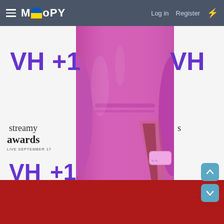Moopy — Log in | Register
[Figure (photo): A woman in a pink/magenta satin long-sleeve gown with a high slit stands on a red carpet in front of a white photo backdrop featuring VH1 and Streamy Awards logos (LIVE SEPTEMBER 17). She holds a small pink clutch purse.]
[Figure (other): Navigation up/down arrow buttons (light blue rounded squares) on the right side of the screen]